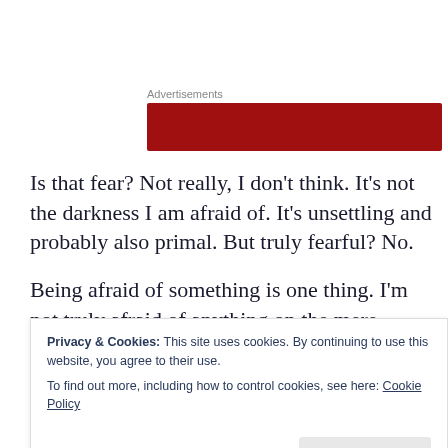Advertisements
[Figure (other): Red advertisement banner]
Is that fear? Not really, I don't think. It's not the darkness I am afraid of. It's unsettling and probably also primal. But truly fearful? No.
Being afraid of something is one thing. I'm not truly afraid of anything on the mere assumption that it's not going to
Privacy & Cookies: This site uses cookies. By continuing to use this website, you agree to their use.
To find out more, including how to control cookies, see here: Cookie Policy
Close and accept